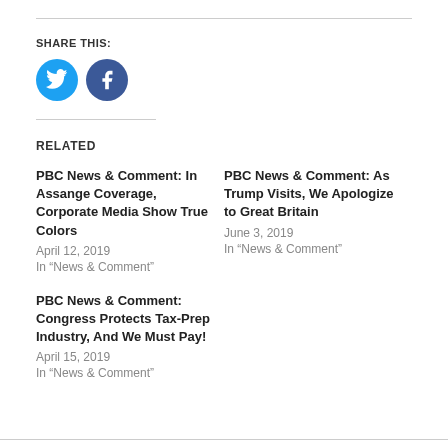SHARE THIS:
[Figure (illustration): Twitter bird icon (blue circle) and Facebook F icon (dark blue circle) as social sharing buttons]
RELATED
PBC News & Comment: In Assange Coverage, Corporate Media Show True Colors
April 12, 2019
In “News & Comment”
PBC News & Comment: As Trump Visits, We Apologize to Great Britain
June 3, 2019
In “News & Comment”
PBC News & Comment: Congress Protects Tax-Prep Industry, And We Must Pay!
April 15, 2019
In “News & Comment”